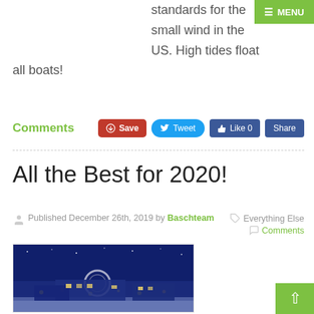standards for the small wind in the US. High tides float all boats!
Comments
Save | Tweet | Like 0 | Share
All the Best for 2020!
Published December 26th, 2019 by Baschteam    Everything Else    Comments
[Figure (photo): Snowy night scene of a building/campus with lights and a circular architectural feature, taken from above.]